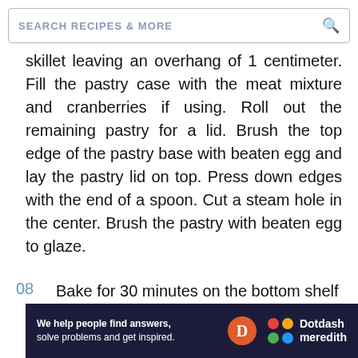SEARCH RECIPES & MORE
skillet leaving an overhang of 1 centimeter. Fill the pastry case with the meat mixture and cranberries if using. Roll out the remaining pastry for a lid. Brush the top edge of the pastry base with beaten egg and lay the pastry lid on top. Press down edges with the end of a spoon. Cut a steam hole in the center. Brush the pastry with beaten egg to glaze.
08  Bake for 30 minutes on the bottom shelf of the oven followed by 30 minutes on the
[Figure (logo): Dotdash Meredith advertisement banner with tagline 'We help people find answers, solve problems and get inspired.']